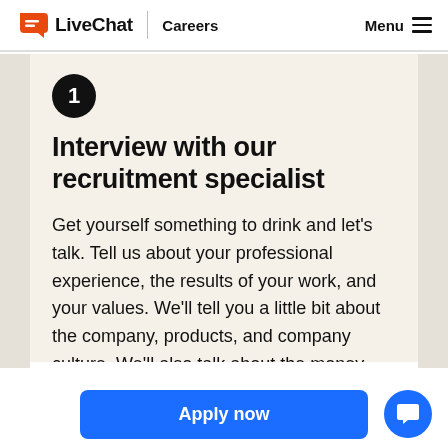LiveChat | Careers  Menu
Interview with our recruitment specialist
Get yourself something to drink and let's talk. Tell us about your professional experience, the results of your work, and your values. We'll tell you a little bit about the company, products, and company culture. We'll also talk about the money